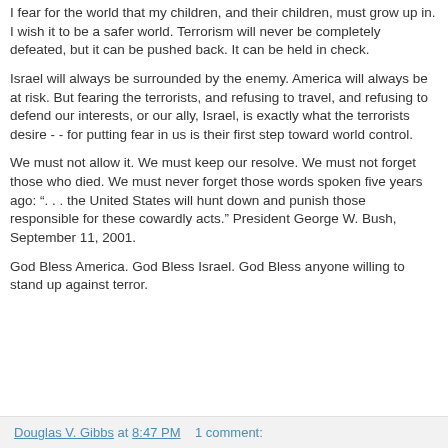I fear for the world that my children, and their children, must grow up in. I wish it to be a safer world. Terrorism will never be completely defeated, but it can be pushed back. It can be held in check.
Israel will always be surrounded by the enemy. America will always be at risk. But fearing the terrorists, and refusing to travel, and refusing to defend our interests, or our ally, Israel, is exactly what the terrorists desire - - for putting fear in us is their first step toward world control.
We must not allow it. We must keep our resolve. We must not forget those who died. We must never forget those words spoken five years ago: ". . . the United States will hunt down and punish those responsible for these cowardly acts." President George W. Bush, September 11, 2001.
God Bless America. God Bless Israel. God Bless anyone willing to stand up against terror.
Douglas V. Gibbs at 8:47 PM    1 comment: